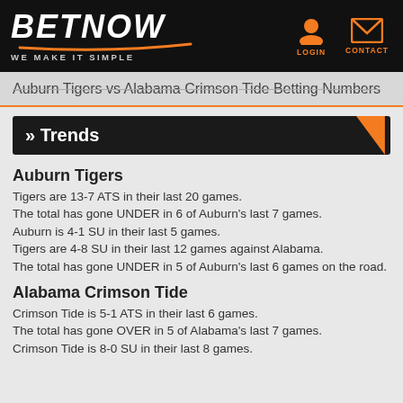[Figure (logo): BetNow logo with text 'WE MAKE IT SIMPLE', login icon, and contact/envelope icon on black header background]
Auburn Tigers vs Alabama Crimson Tide Betting Numbers
» Trends
Auburn Tigers
Tigers are 13-7 ATS in their last 20 games.
The total has gone UNDER in 6 of Auburn's last 7 games.
Auburn is 4-1 SU in their last 5 games.
Tigers are 4-8 SU in their last 12 games against Alabama.
The total has gone UNDER in 5 of Auburn's last 6 games on the road.
Alabama Crimson Tide
Crimson Tide is 5-1 ATS in their last 6 games.
The total has gone OVER in 5 of Alabama's last 7 games.
Crimson Tide is 8-0 SU in their last 8 games.